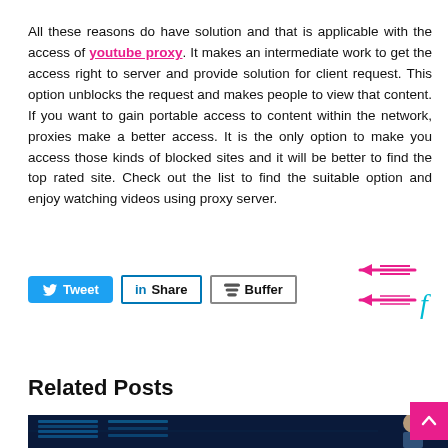All these reasons do have solution and that is applicable with the access of youtube proxy. It makes an intermediate work to get the access right to server and provide solution for client request. This option unblocks the request and makes people to view that content. If you want to gain portable access to content within the network, proxies make a better access. It is the only option to make you access those kinds of blocked sites and it will be better to find the top rated site. Check out the list to find the suitable option and enjoy watching videos using proxy server.
[Figure (other): Social sharing buttons: Tweet (blue), Share (LinkedIn), Buffer; plus a hand-drawn pink arrow annotation pointing left with a blue cursive letter]
Related Posts
[Figure (photo): Partial image of a server room / data center with blue lighting and a person visible on the right]